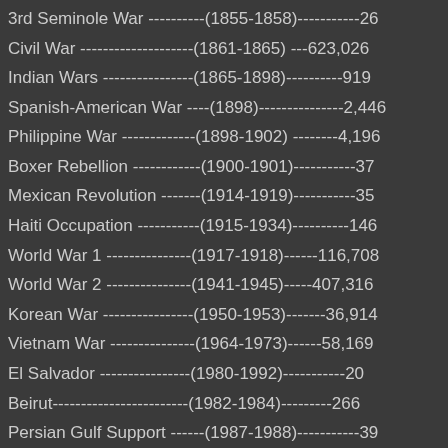3rd Seminole War ----------(1855-1858)-----------26
Civil War --------------------(1861-1865) ---623,026
Indian Wars ----------------(1865-1898)----------919
Spanish-American War ----(1898)---------------2,446
Philippine War -------------(1898-1902) --------4,196
Boxer Rebellion ------------(1900-1901)-----------37
Mexican Revolution -------(1914-1919)-----------35
Haiti Occupation -----------(1915-1934)----------146
World War 1 ---------------(1917-1918)------116,708
World War 2 ---------------(1941-1945)-----407,316
Korean War ----------------(1950-1953)-------36,914
Vietnam War ---------------(1964-1973)------58,169
El Salvador ----------------(1980-1992)-----------20
Beirut------------------------(1982-1984)---------266
Persian Gulf Support ------(1987-1988)-----------39
Invasion of Grenada -------(1983)----------------19
Invasion of Panama --------(1989)----------------40
Persian Gulf War -----------(1991) ---------------269
Somalia ----------------------(1992-1993) ---------43
Bosnia -----------------------(1995) ----------------12
Afghanistan -----------------(2002-2010) ------1,514+
Iraq ---------------------------(2003-2010) -----4,454